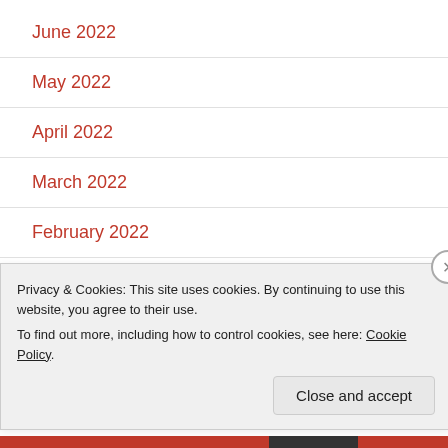June 2022
May 2022
April 2022
March 2022
February 2022
January 2022
December 2021
Privacy & Cookies: This site uses cookies. By continuing to use this website, you agree to their use.
To find out more, including how to control cookies, see here: Cookie Policy